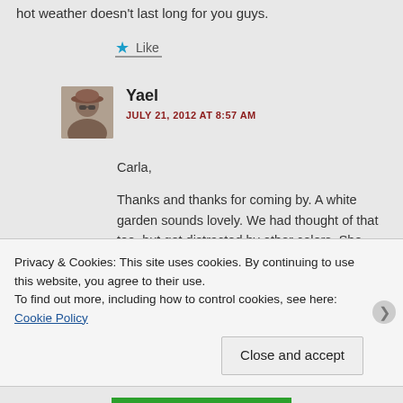hot weather doesn't last long for you guys.
★ Like
Yael
JULY 21, 2012 AT 8:57 AM
Carla,
Thanks and thanks for coming by. A white garden sounds lovely. We had thought of that too, but got distracted by other colors. She…
Privacy & Cookies: This site uses cookies. By continuing to use this website, you agree to their use.
To find out more, including how to control cookies, see here: Cookie Policy
Close and accept